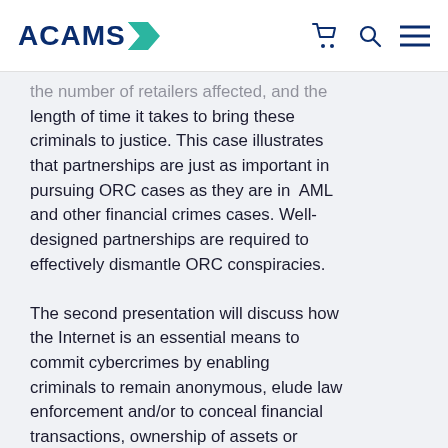ACAMS
the number of retailers affected, and the length of time it takes to bring these criminals to justice. This case illustrates that partnerships are just as important in pursuing ORC cases as they are in AML and other financial crimes cases. Well-designed partnerships are required to effectively dismantle ORC conspiracies.
The second presentation will discuss how the Internet is an essential means to commit cybercrimes by enabling criminals to remain anonymous, elude law enforcement and/or to conceal financial transactions, ownership of assets or other evidence. What are the cyber criminals' priorities? We will venture into